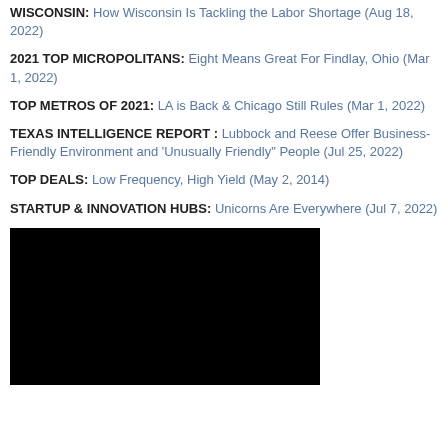WISCONSIN: How Wisconsin Is Tackling the Labor Shortage (Aug 18, 2022)
2021 TOP MICROPOLITANS: Eight Means Great For Findlay, Ohio (Mar 1, 2022)
TOP METROS OF 2021: LA is Back & Chicago Still Rules (Mar 1, 2022)
TEXAS INTELLIGENCE REPORT : Lubbock and Reese Offer Business-Friendly Environment and 'Unusually Friendly" People (Jul 25, 2022)
TOP DEALS: Low Frequency, High Yield (May 2, 2014)
STARTUP & INNOVATION HUBS: Unicorns Are Everywhere (Jul 7, 2022)
[Figure (photo): Black image block, likely a video thumbnail or dark photo]